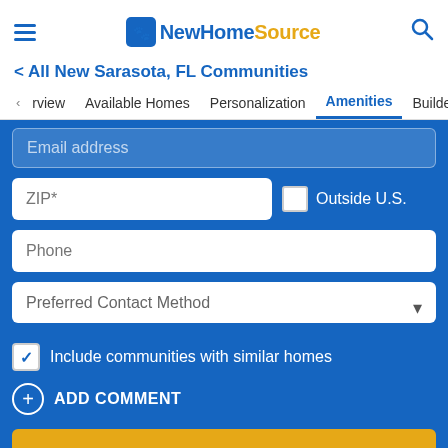NewHomeSource
< All New Sarasota, FL Communities
< rview   Available Homes   Personalization   Amenities   Builder Details
Email address
ZIP*
Outside U.S.
Phone
Preferred Contact Method
Include communities with similar homes
ADD COMMENT
Send Message to Builder →
Contact Builder
Request a Tour